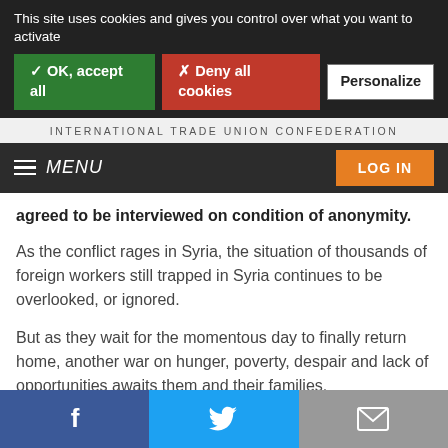This site uses cookies and gives you control over what you want to activate
✓ OK, accept all
✗ Deny all cookies
Personalize
INTERNATIONAL TRADE UNION CONFEDERATION
MENU
LOG IN
agreed to be interviewed on condition of anonymity.
As the conflict rages in Syria, the situation of thousands of foreign workers still trapped in Syria continues to be overlooked, or ignored.
But as they wait for the momentous day to finally return home, another war on hunger, poverty, despair and lack of opportunities awaits them and their families.